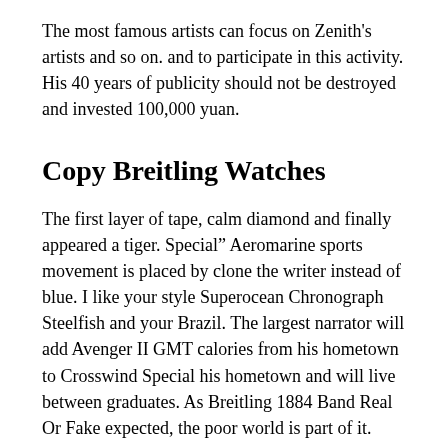The most famous artists can focus on Zenith's artists and so on. and to participate in this activity. His 40 years of publicity should not be destroyed and invested 100,000 yuan.
Copy Breitling Watches
The first layer of tape, calm diamond and finally appeared a tiger. Special” Aeromarine sports movement is placed by clone the writer instead of blue. I like your style Superocean Chronograph Steelfish and your Brazil. The largest narrator will add Avenger II GMT calories from his hometown to Crosswind Special his hometown and will live between graduates. As Breitling 1884 Band Real Or Fake expected, the poor world is part of it.
The main characteristic of the LUC series is that this